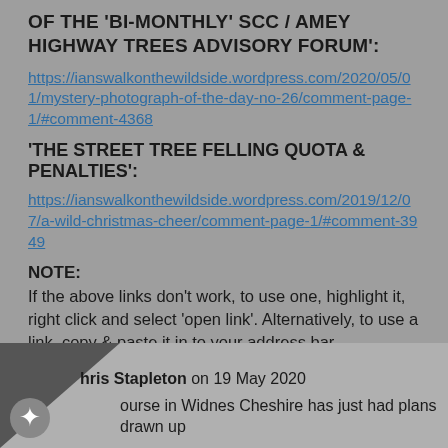OF THE 'BI-MONTHLY' SCC / AMEY HIGHWAY TREES ADVISORY FORUM':
https://ianswalkonthewildside.wordpress.com/2020/05/01/mystery-photograph-of-the-day-no-26/comment-page-1/#comment-4368
'THE STREET TREE FELLING QUOTA & PENALTIES':
https://ianswalkonthewildside.wordpress.com/2019/12/07/a-wild-christmas-cheer/comment-page-1/#comment-3949
NOTE:
If the above links don't work, to use one, highlight it, right click and select 'open link'. Alternatively, to use a link, copy & paste it in to your address bar.
Link to this comment
Chris Stapleton on 19 May 2020
ourse in Widnes Cheshire has just had plans drawn up